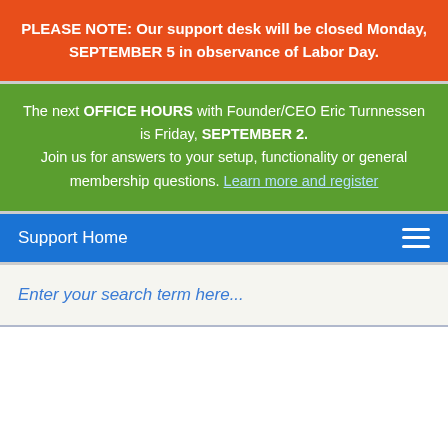PLEASE NOTE: Our support desk will be closed Monday, SEPTEMBER 5 in observance of Labor Day.
The next OFFICE HOURS with Founder/CEO Eric Turnnessen is Friday, SEPTEMBER 2. Join us for answers to your setup, functionality or general membership questions. Learn more and register
Support Home
Enter your search term here...